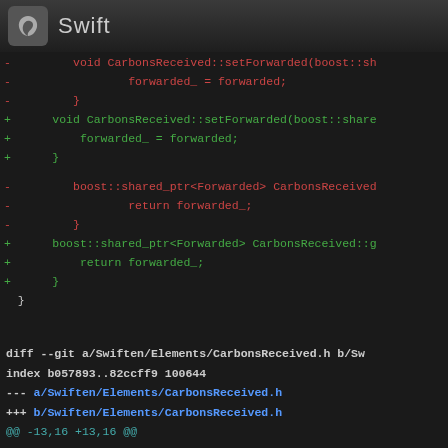Swift
diff code view showing changes to CarbonsReceived files with removed lines (red) and added lines (green)
diff --git a/Swiften/Elements/CarbonsReceived.h b/Sw
index b057893..82ccff9 100644
--- a/Swiften/Elements/CarbonsReceived.h
+++ b/Swiften/Elements/CarbonsReceived.h
@@ -13,16 +13,16 @@